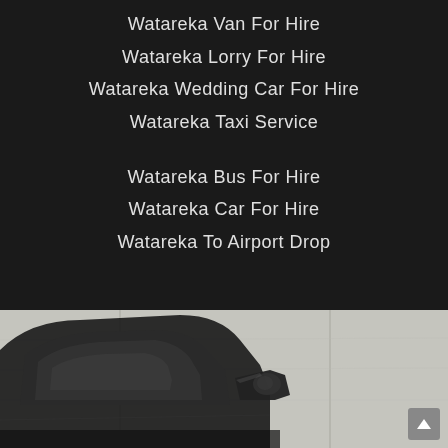Watareka Van For Hire
Watareka Lorry For Hire
Watareka Wedding Car For Hire
Watareka Taxi Service
Watareka Bus For Hire
Watareka Car For Hire
Watareka To Airport Drop
[Figure (photo): Black and white photograph of a car, showing the side mirror and window area of a vehicle parked against a light-colored wall or surface.]